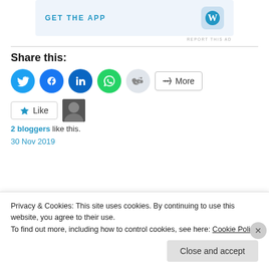[Figure (screenshot): WordPress 'GET THE APP' ad banner with WordPress logo icon on light blue background]
REPORT THIS AD
Share this:
[Figure (infographic): Row of social share icon buttons: Twitter, Facebook, LinkedIn, WhatsApp, Reddit circles, plus More button]
[Figure (infographic): Like button with star icon and a blogger avatar photo thumbnail]
2 bloggers like this.
30 Nov 2019
Privacy & Cookies: This site uses cookies. By continuing to use this website, you agree to their use.
To find out more, including how to control cookies, see here: Cookie Policy
Close and accept